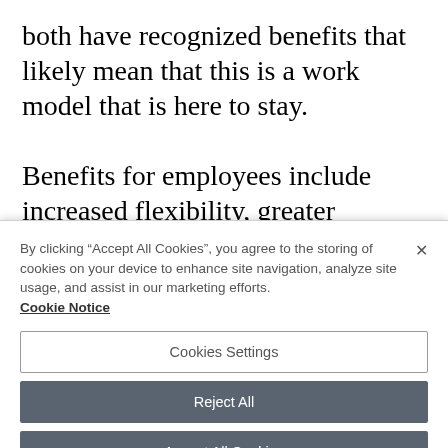both have recognized benefits that likely mean that this is a work model that is here to stay.
Benefits for employees include increased flexibility, greater work/life balance; time saved for commutes and the various interruptions involved in a typical on-site workday; and
By clicking “Accept All Cookies”, you agree to the storing of cookies on your device to enhance site navigation, analyze site usage, and assist in our marketing efforts. Cookie Notice
Cookies Settings
Reject All
Accept All Cookies